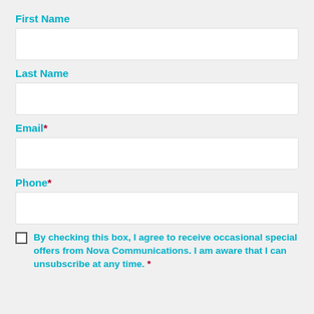First Name
Last Name
Email*
Phone*
By checking this box, I agree to receive occasional special offers from Nova Communications. I am aware that I can unsubscribe at any time. *